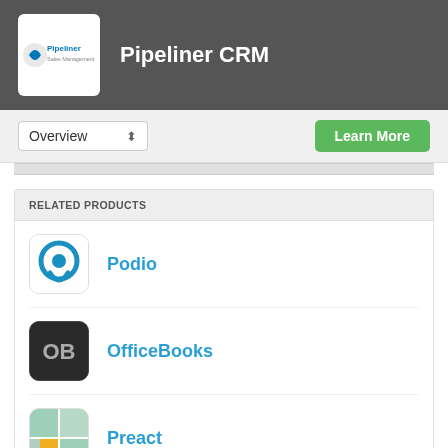Pipeliner CRM
Overview
Learn More
RELATED PRODUCTS
Podio
OfficeBooks
Preact
SEMrush